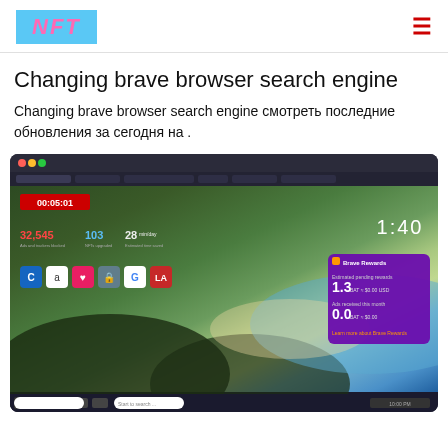NFT
Changing brave browser search engine
Changing brave browser search engine смотреть последние обновления за сегодня на .
[Figure (screenshot): Screenshot of Brave browser new tab page showing stats: 32,545 ads and trackers blocked, 103 NFTs upgraded, 28 min/day bandwidth saved. Clock shows 1:40. Bookmarks bar visible. Brave Rewards widget showing 1.3 BAT estimated pending rewards and 0.0 BAT ads received. Timer overlay shows 00:05:01.]